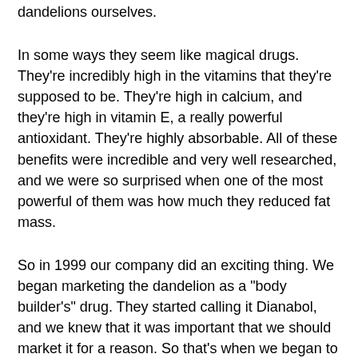dandelions ourselves.
In some ways they seem like magical drugs. They're incredibly high in the vitamins that they're supposed to be. They're high in calcium, and they're high in vitamin E, a really powerful antioxidant. They're highly absorbable. All of these benefits were incredible and very well researched, and we were so surprised when one of the most powerful of them was how much they reduced fat mass.
So in 1999 our company did an exciting thing. We began marketing the dandelion as a "body builder's" drug. They started calling it Dianabol, and we knew that it was important that we should market it for a reason. So that's when we began to put some thought into a number of marketing strategies that we could use to make the dandelion a success.